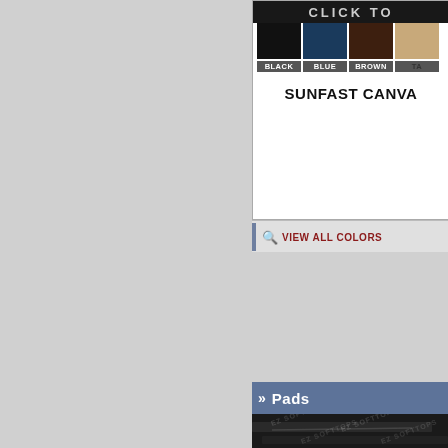[Figure (screenshot): Partial screenshot of a product page showing color swatches (BLACK, BLUE, BROWN, TAN) with a 'CLICK TO' banner at top, 'SUNFAST CANVA...' title, 'VIEW ALL COLORS' link, and 'Pads' section header with EZ SOFTTOPS watermarked product photo below.]